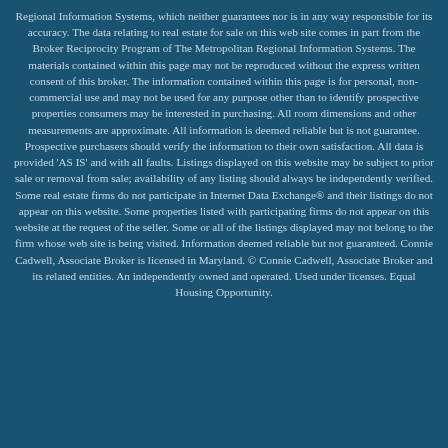Regional Information Systems, which neither guarantees nor is in any way responsible for its accuracy. The data relating to real estate for sale on this web site comes in part from the Broker Reciprocity Program of The Metropolitan Regional Information Systems. The materials contained within this page may not be reproduced without the express written consent of this broker. The information contained within this page is for personal, non-commercial use and may not be used for any purpose other than to identify prospective properties consumers may be interested in purchasing. All room dimensions and other measurements are approximate. All information is deemed reliable but is not guarantee. Prospective purchasers should verify the information to their own satisfaction. All data is provided 'AS IS' and with all faults. Listings displayed on this website may be subject to prior sale or removal from sale; availability of any listing should always be independently verified. Some real estate firms do not participate in Internet Data Exchange® and their listings do not appear on this website. Some properties listed with participating firms do not appear on this website at the request of the seller. Some or all of the listings displayed may not belong to the firm whose web site is being visited. Information deemed reliable but not guaranteed. Connie Cadwell, Associate Broker is licensed in Maryland. © Connie Cadwell, Associate Broker and its related entities. An independently owned and operated. Used under licenses. Equal Housing Opportunity.